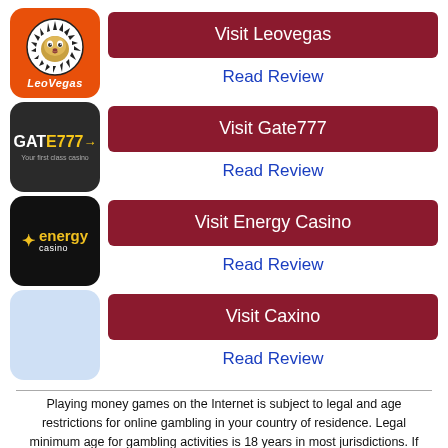[Figure (logo): LeoVegas casino logo - orange background with lion icon]
Visit Leovegas
Read Review
[Figure (logo): Gate777 casino logo - dark background with gate777 text]
Visit Gate777
Read Review
[Figure (logo): Energy Casino logo - black background with star and energy casino text]
Visit Energy Casino
Read Review
[Figure (logo): Caxino casino logo - light blue background]
Visit Caxino
Read Review
Playing money games on the Internet is subject to legal and age restrictions for online gambling in your country of residence. Legal minimum age for gambling activities is 18 years in most jurisdictions. If you are under the legal age, or if online gambling is prohibited in your